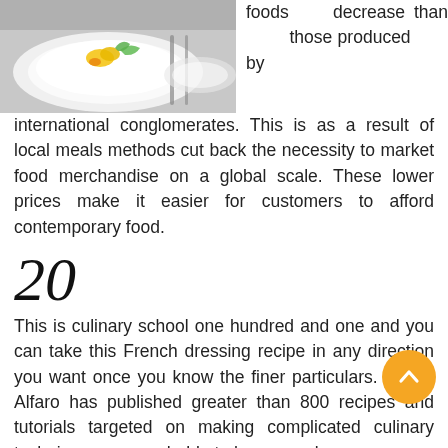[Figure (photo): A plated dish on a white square plate with colorful garnish (yellow and green), with cutlery visible in the background on a grey surface.]
foods decrease than those produced by international conglomerates. This is as a result of local meals methods cut back the necessity to market food merchandise on a global scale. These lower prices make it easier for customers to afford contemporary food.
20
This is culinary school one hundred and one and you can take this French dressing recipe in any direction you want once you know the finer particulars. Danilo Alfaro has published greater than 800 recipes and tutorials targeted on making complicated culinary techniques approachable to house cooks.
Evidence for the managed use of fire by Homo erectus starting some four hundred,000 years ago has wide scholarly support. Archaeological proof from 300,000 years in the past, in the type of historical hearths, earth ovens, burnt